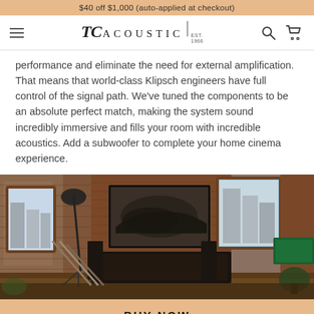$40 off $1,000 (auto-applied at checkout)
TC ACOUSTIC | EST. 1966
performance and eliminate the need for external amplification. That means that world-class Klipsch engineers have full control of the signal path. We've tuned the components to be an absolute perfect match, making the system sound incredibly immersive and fills your room with incredible acoustics. Add a subwoofer to complete your home cinema experience.
[Figure (photo): Interior loft room with brick walls, dark TV unit, large flat screen TV with racing car artwork, floor lamp, pool table on right, speakers visible, and city view through windows.]
BUY NOW